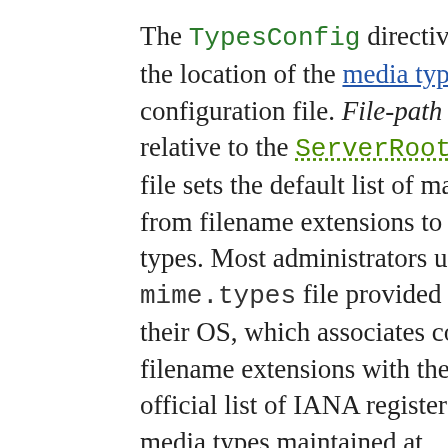The TypesConfig directive sets the location of the media types configuration file. File-path is relative to the ServerRoot. This file sets the default list of mappings from filename extensions to content types. Most administrators use the mime.types file provided by their OS, which associates common filename extensions with the official list of IANA registered media types maintained at http://www.iana.org/assignments/media-types/index.html as well as a large number of unofficial types. This simplifies the